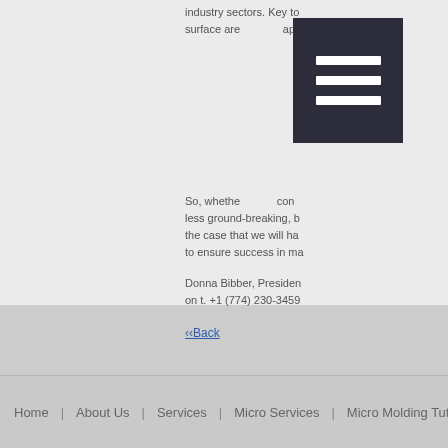industry sectors. Key to surface are apart,
[Figure (other): Dark menu/hamburger icon overlay with three horizontal white bars on dark background]
So, whether con less ground-breaking, b the case that we will ha to ensure success in ma
Donna Bibber, Presiden on t. +1 (774) 230-3459
‹‹Back
Home | About Us | Services | Micro Services | Micro Molding Tuto